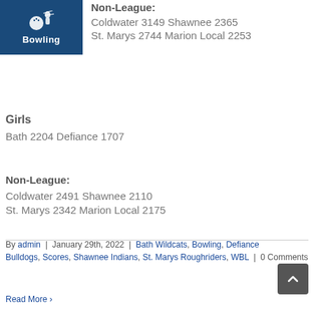[Figure (logo): Bowling logo: dark blue background with bowling ball and pin icon, text 'Bowling' below in white]
Non-League:
Coldwater 3149 Shawnee 2365
St. Marys 2744 Marion Local 2253
Girls
Bath 2204 Defiance 1707
Non-League:
Coldwater 2491 Shawnee 2110
St. Marys 2342 Marion Local 2175
By admin | January 29th, 2022 | Bath Wildcats, Bowling, Defiance Bulldogs, Scores, Shawnee Indians, St. Marys Roughriders, WBL | 0 Comments
Read More >